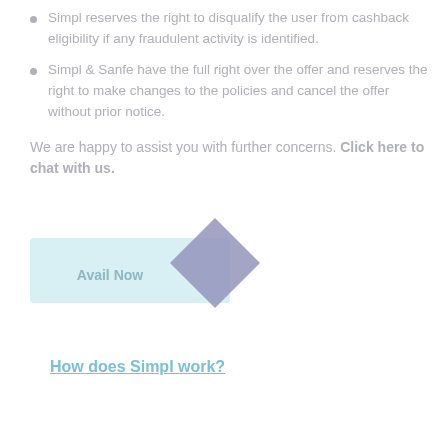Simpl reserves the right to disqualify the user from cashback eligibility if any fraudulent activity is identified.
Simpl & Sanfe have the full right over the offer and reserves the right to make changes to the policies and cancel the offer without prior notice.
We are happy to assist you with further concerns. Click here to chat with us.
[Figure (illustration): A light blue rectangular button labeled 'Avail Now' with a purple/mauve diamond shape overlapping its right side]
How does Simpl work?